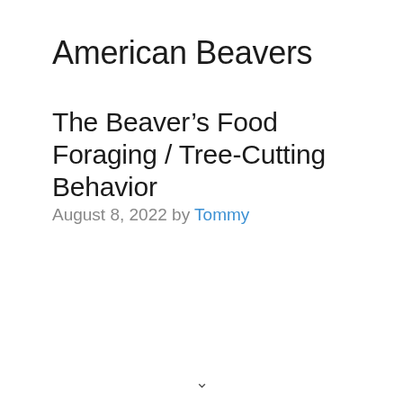American Beavers
The Beaver’s Food Foraging / Tree-Cutting Behavior
August 8, 2022 by Tommy